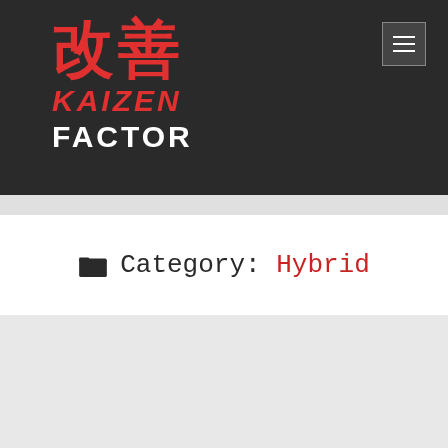[Figure (logo): Kaizen Factor logo with Japanese kanji characters 改善 in red, KAIZEN in red italic, FACTOR in white bold, on dark background. Menu hamburger icon in top right corner.]
Category: Hybrid